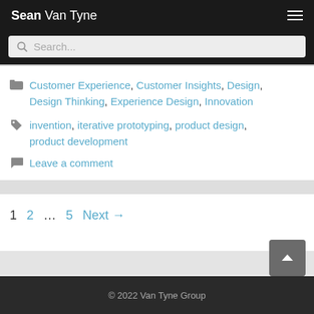Sean Van Tyne
Search...
Customer Experience, Customer Insights, Design, Design Thinking, Experience Design, Innovation
invention, iterative prototyping, product design, product development
Leave a comment
1  2  …  5  Next →
© 2022 Van Tyne Group